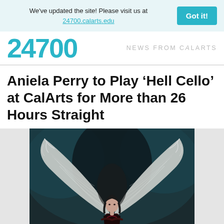We've updated the site! Please visit us at 24700.calarts.edu  Got it!
24700  NEWS FROM CalARTS
Aniela Perry to Play ‘Hell Cello’ at CalArts for More than 26 Hours Straight
[Figure (photo): A woman with dark hair stands in front of large dramatic white feathered angel wings spread wide against a dark teal/black background. She holds her arms crossed over her chest and wears a dark outfit.]